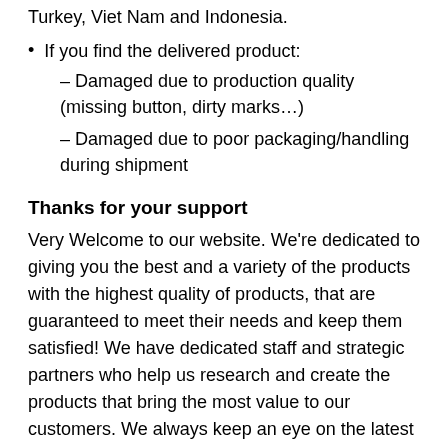Turkey, Viet Nam and Indonesia.
If you find the delivered product:
– Damaged due to production quality (missing button, dirty marks…)
– Damaged due to poor packaging/handling during shipment
Thanks for your support
Very Welcome to our website. We're dedicated to giving you the best and a variety of the products with the highest quality of products, that are guaranteed to meet their needs and keep them satisfied! We have dedicated staff and strategic partners who help us research and create the products that bring the most value to our customers. We always keep an eye on the latest trends for such kinds of products and continuously improve our products and out our customer's wishes first.Our mission is to bring customers the best experience when using our products in